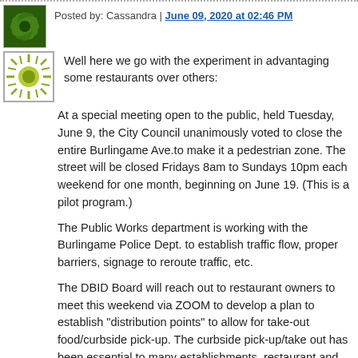Posted by: Cassandra | June 09, 2020 at 02:46 PM
Well here we go with the experiment in advantaging some restaurants over others:
At a special meeting open to the public, held Tuesday, June 9, the City Council unanimously voted to close the entire Burlingame Ave.to make it a pedestrian zone. The street will be closed Fridays 8am to Sundays 10pm each weekend for one month, beginning on June 19. (This is a pilot program.)
The Public Works department is working with the Burlingame Police Dept. to establish traffic flow, proper barriers, signage to reroute traffic, etc.
The DBID Board will reach out to restaurant owners to meet this weekend via ZOOM to develop a plan to establish "distribution points" to allow for take-out food/curbside pick-up. The curbside pick-up/take out has been essential to many establishments, restaurant and retail, during this time of shelter in place business closures. It will continue to be essential throughout the county's opening phases, including when restaurants are allowed to offer dining in-doors with